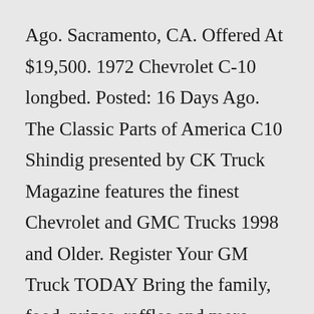Ago. Sacramento, CA. Offered At $19,500. 1972 Chevrolet C-10 longbed. Posted: 16 Days Ago. The Classic Parts of America C10 Shindig presented by CK Truck Magazine features the finest Chevrolet and GMC Trucks 1998 and Older. Register Your GM Truck TODAY Bring the family, food, prizes, raffles and more. Lots of cool trucks to see. REGISTER NOW Our PartnersThe C10 is an amazing truck with over forty